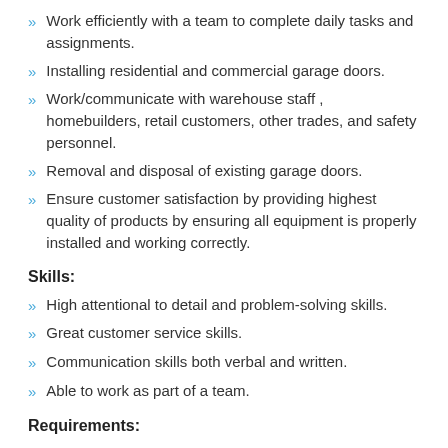Work efficiently with a team to complete daily tasks and assignments.
Installing residential and commercial garage doors.
Work/communicate with warehouse staff , homebuilders, retail customers, other trades, and safety personnel.
Removal and disposal of existing garage doors.
Ensure customer satisfaction by providing highest quality of products by ensuring all equipment is properly installed and working correctly.
Skills:
High attentional to detail and problem-solving skills.
Great customer service skills.
Communication skills both verbal and written.
Able to work as part of a team.
Requirements:
3+ years' experience working in a trade such as